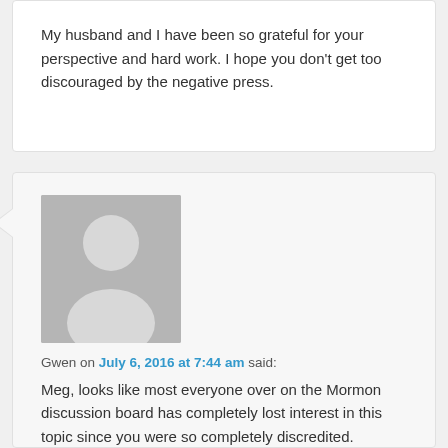My husband and I have been so grateful for your perspective and hard work. I hope you don't get too discouraged by the negative press.
[Figure (illustration): Generic user avatar icon — grey silhouette of a person on grey background]
Gwen on July 6, 2016 at 7:44 am said:
Meg, looks like most everyone over on the Mormon discussion board has completely lost interest in this topic since you were so completely discredited.
I still hope you will return and continue discussing as I found it interesting (especially all of the information that the academic historians presented in opposition to all your theories, as that was